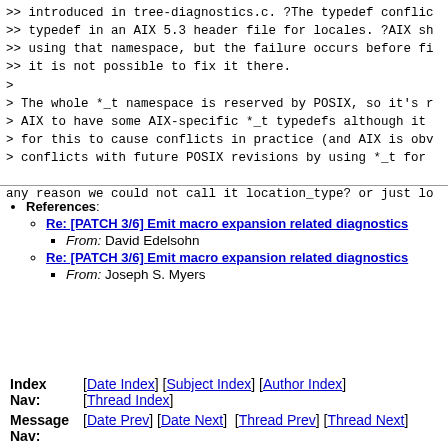>> introduced in tree-diagnostics.c. ?The typedef conflic
>> typedef in an AIX 5.3 header file for locales. ?AIX sh
>> using that namespace, but the failure occurs before fi
>> it is not possible to fix it there.
>
> The whole *_t namespace is reserved by POSIX, so it's r
> AIX to have some AIX-specific *_t typedefs although it
> for this to cause conflicts in practice (and AIX is obv
> conflicts with future POSIX revisions by using *_t for

any reason we could not call it location_type? or just lo
References:
Re: [PATCH 3/6] Emit macro expansion related diagnostics - From: David Edelsohn
Re: [PATCH 3/6] Emit macro expansion related diagnostics - From: Joseph S. Myers
Index Nav: [Date Index] [Subject Index] [Author Index] [Thread Index]
Message Nav: [Date Prev] [Date Next] [Thread Prev] [Thread Next]